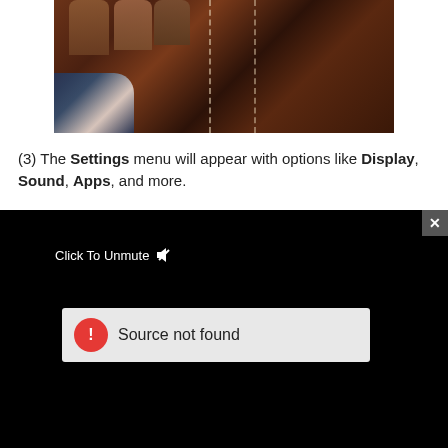[Figure (photo): Close-up photo of hands holding a brown leather item with stitching visible, against a light background]
(3) The Settings menu will appear with options like Display, Sound, Apps, and more.
[Figure (screenshot): Video player overlay on black background showing 'Click To Unmute' text with speaker icon, and an error message box reading 'Source not found' with a red warning icon. A close (X) button appears in the top-right corner.]